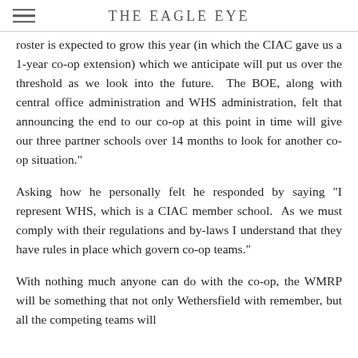THE EAGLE EYE
roster is expected to grow this year (in which the CIAC gave us a 1-year co-op extension) which we anticipate will put us over the threshold as we look into the future.  The BOE, along with central office administration and WHS administration, felt that announcing the end to our co-op at this point in time will give our three partner schools over 14 months to look for another co-op situation."
Asking how he personally felt he responded by saying "I represent WHS, which is a CIAC member school.  As we must comply with their regulations and by-laws I understand that they have rules in place which govern co-op teams."
With nothing much anyone can do with the co-op, the WMRP will be something that not only Wethersfield with remember, but all the competing teams will